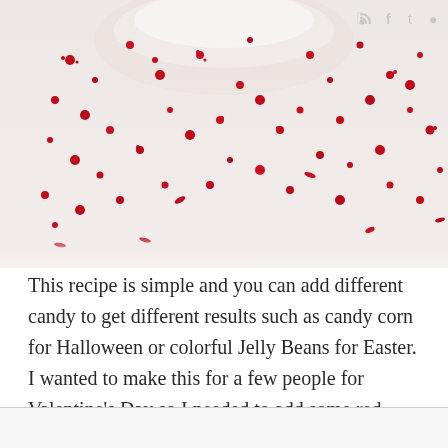[Figure (photo): Close-up photo of red sprinkles/candy dots scattered on a white surface, with part of a white bowl or plate visible at the top. Social media icons (RSS, Facebook, Twitter, and another) visible in top right corner.]
This recipe is simple and you can add different candy to get different results such as candy corn for Halloween or colorful Jelly Beans for Easter. I wanted to make this for a few people for Valentine's Day so I needed to add some red candy and red sprinkles.  I went shopping and found the 'Tabasco Jelly Beans' and knew I I found the perfect candy.